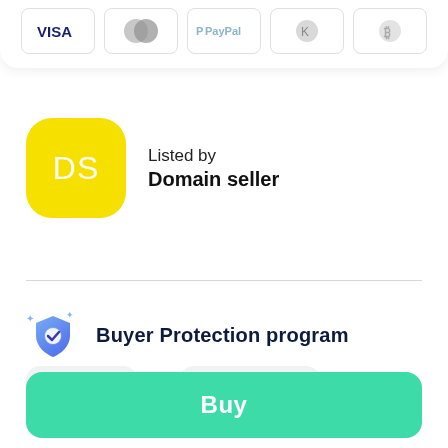[Figure (other): Payment method icons: Visa, Mastercard, PayPal, Klarna, Bitcoin in bordered card tiles]
Listed by
Domain seller
Buyer Protection program
$2,888 or $241 /month
Buy